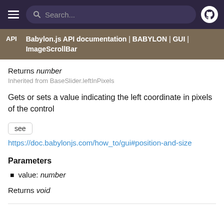Search... [hamburger menu] [github icon]
API | Babylon.js API documentation | BABYLON | GUI | ImageScrollBar
Returns number
Inherited from BaseSlider.leftInPixels
Gets or sets a value indicating the left coordinate in pixels of the control
see
https://doc.babylonjs.com/how_to/gui#position-and-size
Parameters
value: number
Returns void